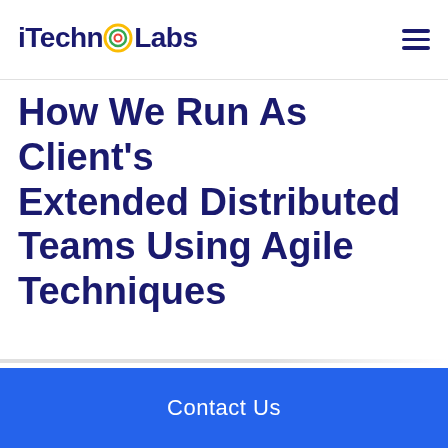iTechnoLabs
How We Run As Client’s Extended Distributed Teams Using Agile Techniques
Contact Us